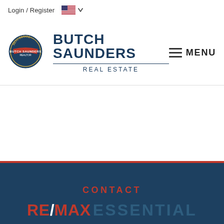Login / Register
[Figure (logo): Butch Saunders Real Estate circular badge logo with dark navy and red design]
BUTCH SAUNDERS REAL ESTATE
MENU
CONTACT
[Figure (logo): RE/MAX ESSENTIAL logo with red RE/MAX text and muted blue ESSENTIAL text]